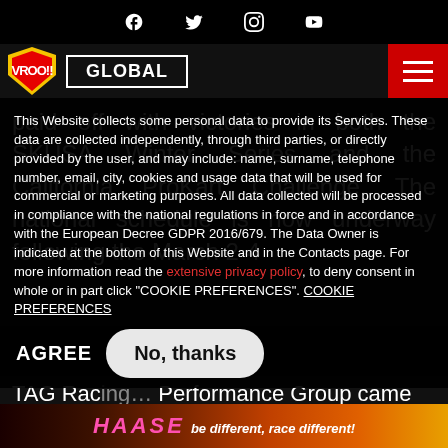Social media icons: Facebook, Twitter, Instagram, YouTube
VROO!! GLOBAL [hamburger menu]
paid off with victories in both the SKUSA Winter Series and the California ProKart Challenge. The national schedule is now underway following the March 2-4 weekend at the Sun… USA Pre-Tour Wilma… motorsports … race team … of … CPART…
This Website collects some personal data to provide its Services. These data are collected independently, through third parties, or directly provided by the user, and may include: name, surname, telephone number, email, city, cookies and usage data that will be used for commercial or marketing purposes. All data collected will be processed in compliance with the national regulations in force and in accordance with the European Decree GDPR 2016/679. The Data Owner is indicated at the bottom of this Website and in the Contacts page. For more information read the extensive privacy policy, to deny consent in whole or in part click "COOKIE PREFERENCES". COOKIE PREFERENCES
AGREE
No, thanks
TAG Racing… Performance Group came from
[Figure (illustration): HAASE motorsport banner: 'be different, race different!' with pink/orange flame background]